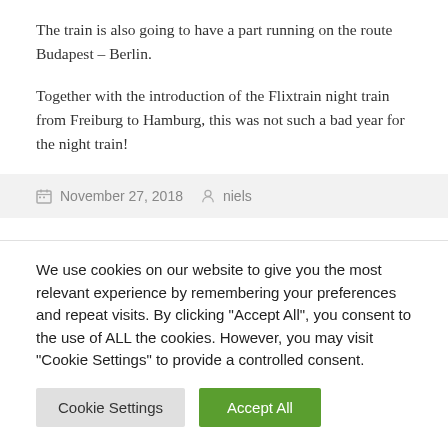The train is also going to have a part running on the route Budapest – Berlin.
Together with the introduction of the Flixtrain night train from Freiburg to Hamburg, this was not such a bad year for the night train!
November 27, 2018   niels
We use cookies on our website to give you the most relevant experience by remembering your preferences and repeat visits. By clicking "Accept All", you consent to the use of ALL the cookies. However, you may visit "Cookie Settings" to provide a controlled consent.